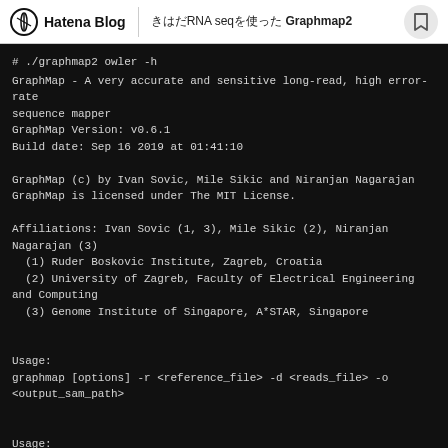Hatena Blog | RNA seqを使ったGraphmap2
# ./graphmap2 owler -h
GraphMap - A very accurate and sensitive long-read, high error-rate sequence mapper
GraphMap Version: v0.6.1
Build date: Sep 16 2019 at 01:41:10

GraphMap (c) by Ivan Sovic, Mile Sikic and Niranjan Nagarajan
GraphMap is licensed under The MIT License.

Affiliations: Ivan Sovic (1, 3), Mile Sikic (2), Niranjan Nagarajan (3)
  (1) Ruder Boskovic Institute, Zagreb, Croatia
  (2) University of Zagreb, Faculty of Electrical Engineering and Computing
  (3) Genome Institute of Singapore, A*STAR, Singapore


Usage:
graphmap [options] -r <reference_file> -d <reads_file> -o <output_sam_path>


Usage:
  ./graphmap2 [options]

Options
  Input/Output options: